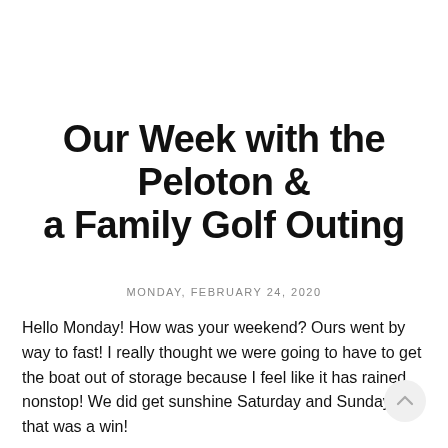Our Week with the Peloton & a Family Golf Outing
MONDAY, FEBRUARY 24, 2020
Hello Monday! How was your weekend? Ours went by way to fast! I really thought we were going to have to get the boat out of storage because I feel like it has rained nonstop! We did get sunshine Saturday and Sunday so that was a win!
I hope you will grab our graphic and join us!